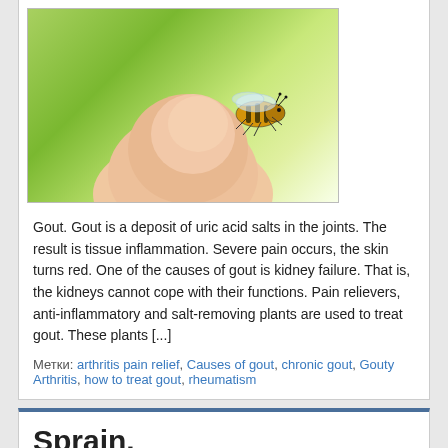[Figure (photo): A bee sitting on a human fingertip, green blurred background]
Gout. Gout is a deposit of uric acid salts in the joints. The result is tissue inflammation. Severe pain occurs, the skin turns red. One of the causes of gout is kidney failure. That is, the kidneys cannot cope with their functions. Pain relievers, anti-inflammatory and salt-removing plants are used to treat gout. These plants [...]
Метки: arthritis pain relief, Causes of gout, chronic gout, Gouty Arthritis, how to treat gout, rheumatism
Sprain.
Thyroid, Treatment of joints
[Figure (photo): Partial image of a sprain-related photo, mostly blue/light tones, cut off at bottom]